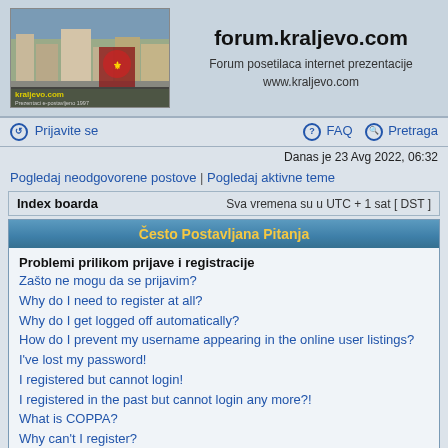[Figure (photo): Aerial/city photo of Kraljevo with logo overlay and text 'kraljevo.com Prezentaci e-postavljeno 1997']
forum.kraljevo.com
Forum posetilaca internet prezentacije
www.kraljevo.com
Prijavite se
FAQ   Pretraga
Danas je 23 Avg 2022, 06:32
Pogledaj neodgovorene postove | Pogledaj aktivne teme
| Index boarda | Sva vremena su u UTC + 1 sat [ DST ] |
| --- | --- |
Često Postavljana Pitanja
Problemi prilikom prijave i registracije
Zašto ne mogu da se prijavim?
Why do I need to register at all?
Why do I get logged off automatically?
How do I prevent my username appearing in the online user listings?
I've lost my password!
I registered but cannot login!
I registered in the past but cannot login any more?!
What is COPPA?
Why can't I register?
What does the "Delete all board cookies" do?
User Preferences and settings
How do I change my settings?